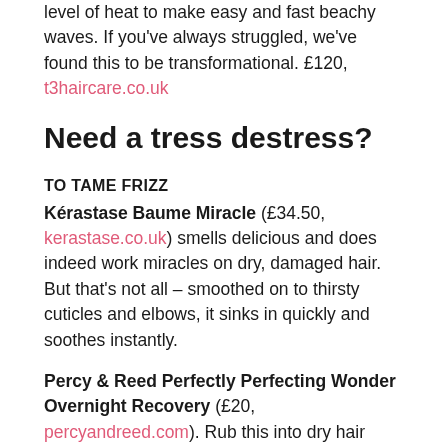level of heat to make easy and fast beachy waves. If you've always struggled, we've found this to be transformational. £120, t3haircare.co.uk
Need a tress destress?
TO TAME FRIZZ
Kérastase Baume Miracle (£34.50, kerastase.co.uk) smells delicious and does indeed work miracles on dry, damaged hair. But that's not all – smoothed on to thirsty cuticles and elbows, it sinks in quickly and soothes instantly.
Percy & Reed Perfectly Perfecting Wonder Overnight Recovery (£20, percyandreed.com). Rub this into dry hair before bed. It dries in quickly, won't come off on your pillows and leaves hair looking glossy and de-